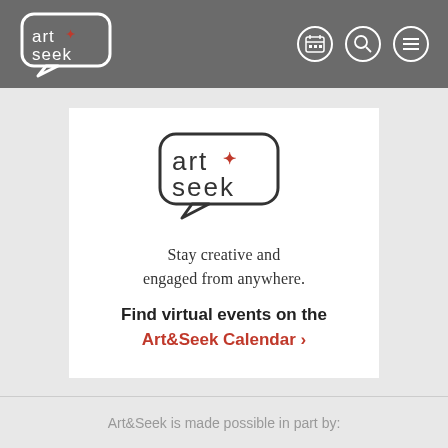art&seek — navigation header with calendar, search, and menu icons
[Figure (logo): Art&Seek logo — speech bubble containing 'art' and 'seek' text with a red plus/star symbol]
Stay creative and engaged from anywhere.
Find virtual events on the Art&Seek Calendar >
Art&Seek is made possible in part by: